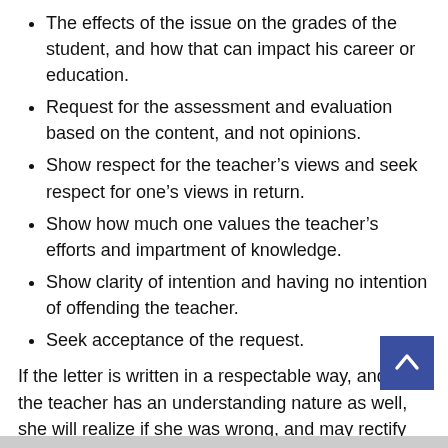The effects of the issue on the grades of the student, and how that can impact his career or education.
Request for the assessment and evaluation based on the content, and not opinions.
Show respect for the teacher’s views and seek respect for one’s views in return.
Show how much one values the teacher’s efforts and impartment of knowledge.
Show clarity of intention and having no intention of offending the teacher.
Seek acceptance of the request.
If the letter is written in a respectable way, and if the teacher has an understanding nature as well, she will realize if she was wrong, and may rectify the situation. However, if a student writes to her in a offensive way, the liberal teacher may hold a grudge against him, and in addition to ruining his grades, she